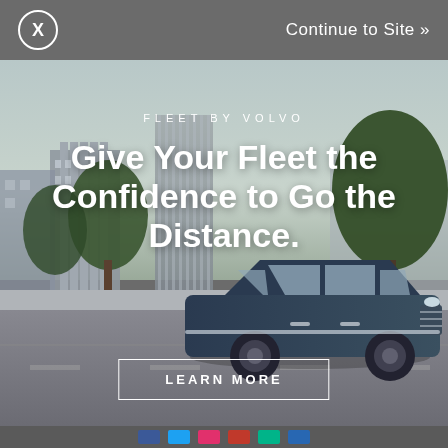[Figure (screenshot): Screenshot of a webpage with a Volvo Fleet advertisement overlay. Top gray bar with close X button and 'Continue to Site »' link. Behind bar: partially visible WTX logo and 'QUALIFIED FLEET MANAGERS ATTEND...' headline. Main ad shows a dark blue Volvo XC90 SUV driving on a city street with trees and buildings in background. Text reads: 'FLEET BY VOLVO' and 'Give Your Fleet the Confidence to Go the Distance.' with a 'LEARN MORE' button. Bottom gray bar with social media icons.]